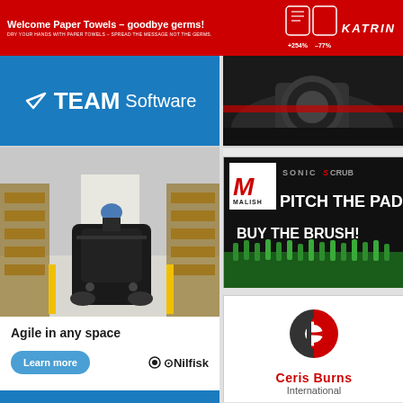[Figure (advertisement): Katrin paper towels red banner ad: 'Welcome Paper Towels – goodbye germs!' with +254% and -77% statistics and KATRIN logo]
[Figure (logo): TEAM Software logo on blue background banner]
[Figure (photo): Dark industrial machinery close-up photo on right side top]
[Figure (advertisement): Nilfisk floor scrubber advertisement showing industrial cleaning machine in warehouse with 'Agile in any space' text, Learn more button and Nilfisk logo]
[Figure (advertisement): Malish Sonic Scrub advertisement: PITCH THE PAD BUY THE BRUSH! with green brush bristles]
[Figure (logo): Ceris Burns International logo - red and dark circular logo with company name]
[Figure (advertisement): Partial bottom right advertisement with dark background and green/yellow graphic elements]